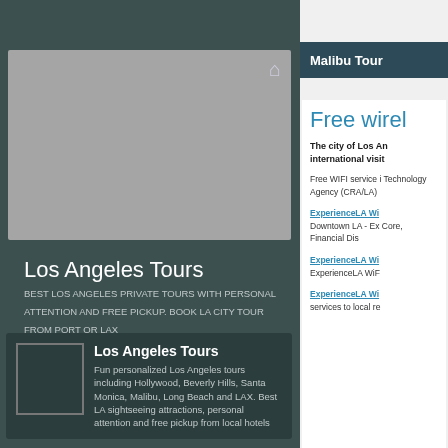[Figure (screenshot): Gray map area with home icon in top right]
Los Angeles Tours
BEST LOS ANGELES PRIVATE TOURS WITH PERSONAL ATTENTION AND FREE PICKUP. BOOK LA CITY TOUR FROM PORT OR LAX
[Figure (photo): Small thumbnail image placeholder]
Los Angeles Tours
Fun personalized Los Angeles tours including Hollywood, Beverly Hills, Santa Monica, Malibu, Long Beach and LAX. Best LA sightseeing attractions, personal attention and free pickup from local hotels
Malibu Tour
Free wirel
The city of Los An international visit
Free WIFI service i Technology Agency (CRA/LA)
ExperienceLA Wi
Downtown LA - Exp Core, Financial Dis
ExperienceLA Wi
ExperienceLA WiF
ExperienceLA Wi
services to local re